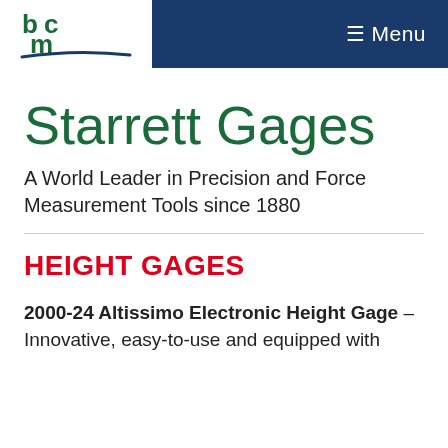≡ Menu
[Figure (logo): BCM logo with stylized 'bc' and 'm' letters in green and a blue curved underline]
Starrett Gages
A World Leader in Precision and Force Measurement Tools since 1880
HEIGHT GAGES
2000-24 Altissimo Electronic Height Gage – Innovative, easy-to-use and equipped with